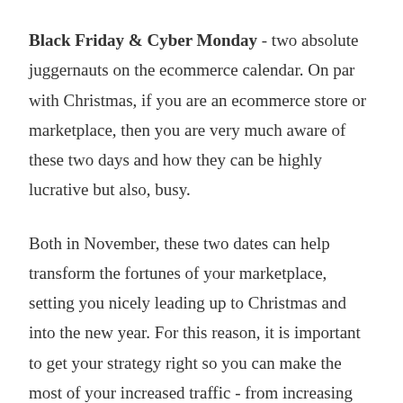Black Friday & Cyber Monday - two absolute juggernauts on the ecommerce calendar. On par with Christmas, if you are an ecommerce store or marketplace, then you are very much aware of these two days and how they can be highly lucrative but also, busy.
Both in November, these two dates can help transform the fortunes of your marketplace, setting you nicely leading up to Christmas and into the new year. For this reason, it is important to get your strategy right so you can make the most of your increased traffic - from increasing traffic to your site to most importantly,